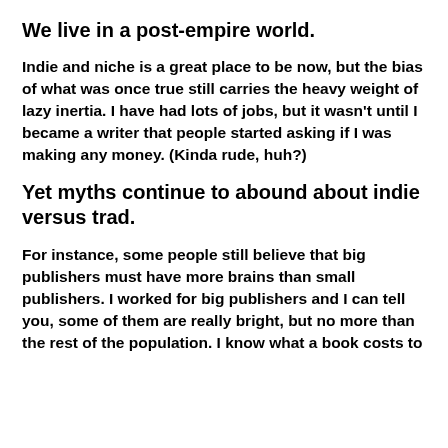We live in a post-empire world.
Indie and niche is a great place to be now, but the bias of what was once true still carries the heavy weight of lazy inertia. I have had lots of jobs, but it wasn't until I became a writer that people started asking if I was making any money. (Kinda rude, huh?)
Yet myths continue to abound about indie versus trad.
For instance, some people still believe that big publishers must have more brains than small publishers. I worked for big publishers and I can tell you, some of them are really bright, but no more than the rest of the population. I know what a book costs to